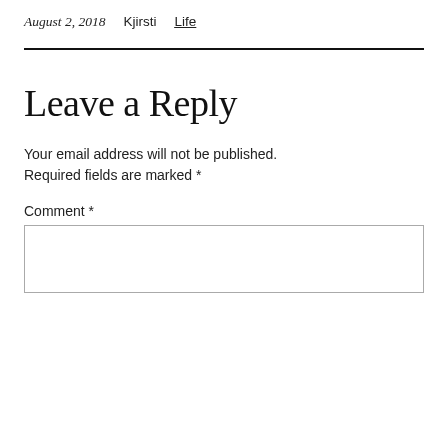August 2, 2018    Kjirsti    Life
Leave a Reply
Your email address will not be published. Required fields are marked *
Comment *